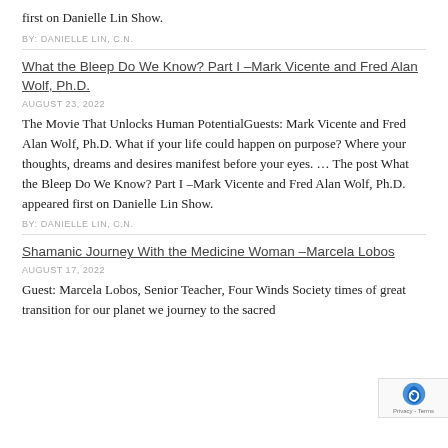first on Danielle Lin Show.
BY: DANIELLE LIN, C.N.
What the Bleep Do We Know? Part I –Mark Vicente and Fred Alan Wolf, Ph.D.
AUGUST 23, 2022
The Movie That Unlocks Human PotentialGuests: Mark Vicente and Fred Alan Wolf, Ph.D. What if your life could happen on purpose? Where your thoughts, dreams and desires manifest before your eyes. … The post What the Bleep Do We Know? Part I –Mark Vicente and Fred Alan Wolf, Ph.D. appeared first on Danielle Lin Show.
BY: DANIELLE LIN, C.N.
Shamanic Journey With the Medicine Woman –Marcela Lobos
AUGUST 17, 2022
Guest: Marcela Lobos, Senior Teacher, Four Winds Society times of great transition for our planet we journey to the sacred